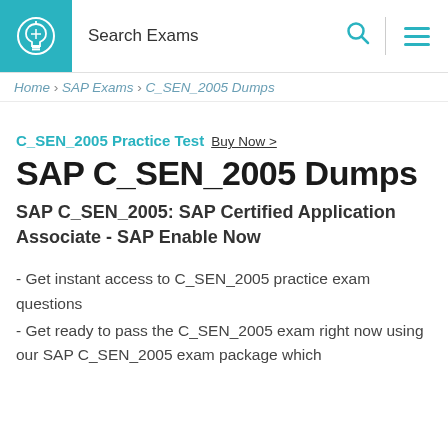Search Exams
Home > SAP Exams > C_SEN_2005 Dumps
C_SEN_2005 Practice Test Buy Now >
SAP C_SEN_2005 Dumps
SAP C_SEN_2005: SAP Certified Application Associate - SAP Enable Now
- Get instant access to C_SEN_2005 practice exam questions
- Get ready to pass the C_SEN_2005 exam right now using our SAP C_SEN_2005 exam package which